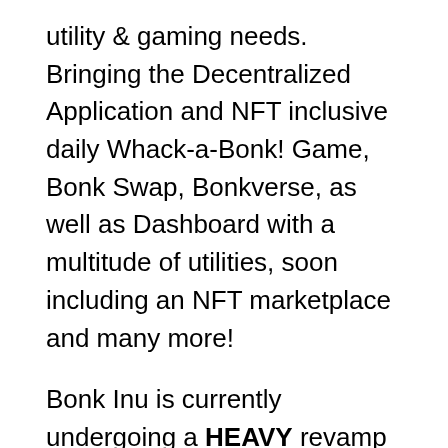utility & gaming needs. Bringing the Decentralized Application and NFT inclusive daily Whack-a-Bonk! Game, Bonk Swap, Bonkverse, as well as Dashboard with a multitude of utilities, soon including an NFT marketplace and many more!
Bonk Inu is currently undergoing a HEAVY revamp overhaul of all it' s art, designs, consistencies, produces & more henceforth. With ongoing 3D Ventures, the team has developed further as a GameFi product and have scaled Bonk Inu into an even greater project dedicated to becoming an established cryptocurrency on the Binance Smart Chain.
Bonk Inu is closing on its launch soon with the